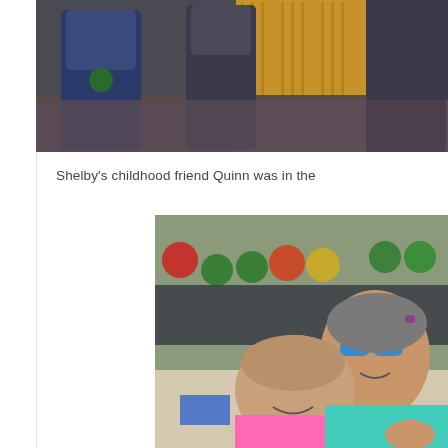[Figure (photo): Two people standing in a bowling alley, one in a blue t-shirt and one in dark clothing, with colorful bowling balls visible and wood-paneled walls in the background.]
Shelby's childhood friend Quinn was in the
[Figure (photo): A woman with blue glasses and a young girl smiling together at a bowling alley, with colorful bowling balls on a rack in the background.]